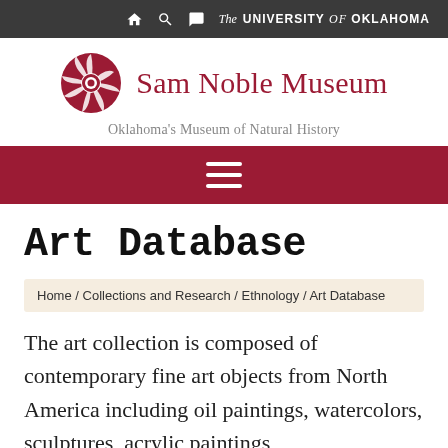The UNIVERSITY of OKLAHOMA
[Figure (logo): Sam Noble Museum circular logo in crimson/white, followed by 'Sam Noble Museum' text in crimson serif font. Below: 'Oklahoma's Museum of Natural History' tagline in gray.]
[Figure (other): Crimson navigation/menu bar with white hamburger menu icon (three horizontal lines)]
Art Database
Home / Collections and Research / Ethnology / Art Database
The art collection is composed of contemporary fine art objects from North America including oil paintings, watercolors, sculptures, acrylic paintings,